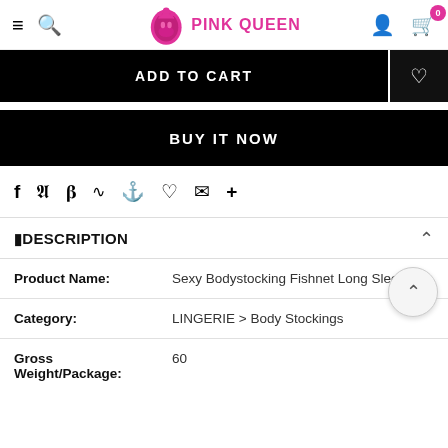Pink Queen — navigation bar with logo, search, user, cart
ADD TO CART
BUY IT NOW
Social share icons: f, twitter, pinterest, grid, bookmark, heart, email, +
DESCRIPTION
| Field | Value |
| --- | --- |
| Product Name: | Sexy Bodystocking Fishnet Long Sleeve Bl |
| Category: | LINGERIE > Body Stockings |
| Gross Weight/Package: | 60 |